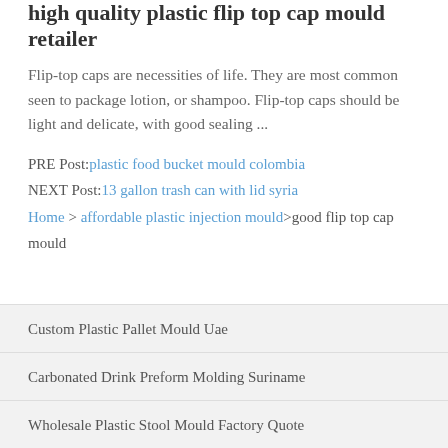high quality plastic flip top cap mould retailer
Flip-top caps are necessities of life. They are most common seen to package lotion, or shampoo. Flip-top caps should be light and delicate, with good sealing ...
PRE Post: plastic food bucket mould colombia
NEXT Post: 13 gallon trash can with lid syria
Home > affordable plastic injection mould>good flip top cap mould
Custom Plastic Pallet Mould Uae
Carbonated Drink Preform Molding Suriname
Wholesale Plastic Stool Mould Factory Quote